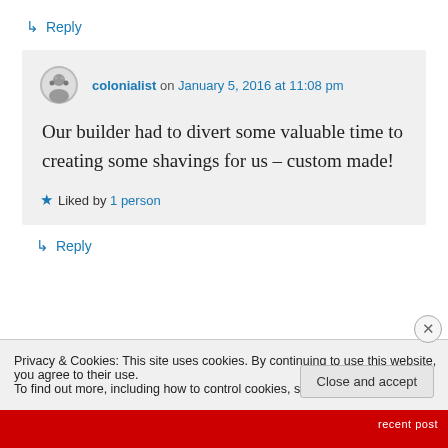↳ Reply
colonialist on January 5, 2016 at 11:08 pm
Our builder had to divert some valuable time to creating some shavings for us – custom made!
★ Liked by 1 person
↳ Reply
Privacy & Cookies: This site uses cookies. By continuing to use this website, you agree to their use.
To find out more, including how to control cookies, see here: Cookie Policy
Close and accept